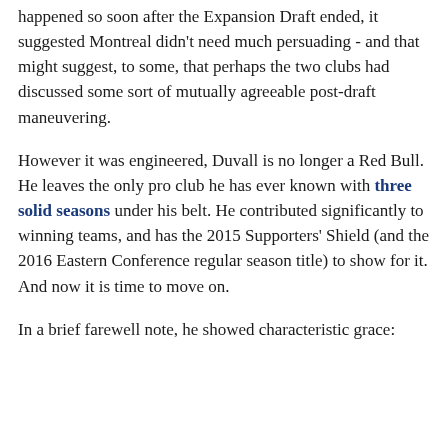happened so soon after the Expansion Draft ended, it suggested Montreal didn't need much persuading - and that might suggest, to some, that perhaps the two clubs had discussed some sort of mutually agreeable post-draft maneuvering.
However it was engineered, Duvall is no longer a Red Bull. He leaves the only pro club he has ever known with three solid seasons under his belt. He contributed significantly to winning teams, and has the 2015 Supporters' Shield (and the 2016 Eastern Conference regular season title) to show for it. And now it is time to move on.
In a brief farewell note, he showed characteristic grace: